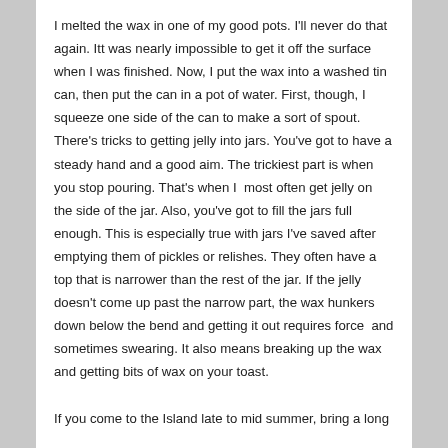I melted the wax in one of my good pots. I'll never do that again. Itt was nearly impossible to get it off the surface when I was finished. Now, I put the wax into a washed tin can, then put the can in a pot of water. First, though, I squeeze one side of the can to make a sort of spout. There's tricks to getting jelly into jars. You've got to have a steady hand and a good aim. The trickiest part is when you stop pouring. That's when I  most often get jelly on the side of the jar. Also, you've got to fill the jars full enough. This is especially true with jars I've saved after emptying them of pickles or relishes. They often have a top that is narrower than the rest of the jar. If the jelly doesn't come up past the narrow part, the wax hunkers down below the bend and getting it out requires force  and sometimes swearing. It also means breaking up the wax and getting bits of wax on your toast.
If you come to the Island late to mid summer, bring a long